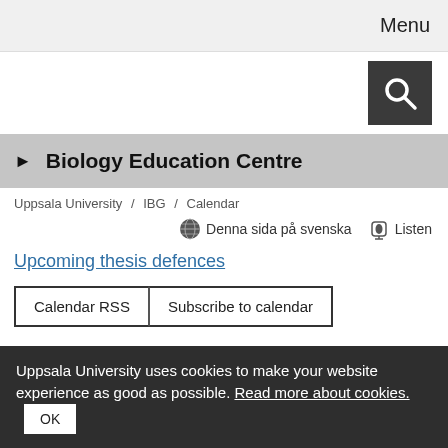Menu
[Figure (other): Search icon button (magnifying glass on dark background)]
Biology Education Centre
Uppsala University / IBG / Calendar
Denna sida på svenska   Listen
Upcoming thesis defences
Calendar RSS   Subscribe to calendar
Uppsala University uses cookies to make your website experience as good as possible. Read more about cookies.  OK